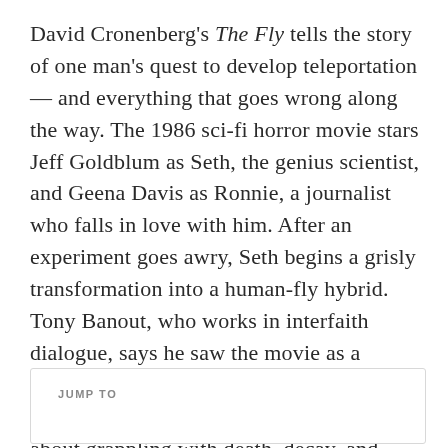David Cronenberg's The Fly tells the story of one man's quest to develop teleportation — and everything that goes wrong along the way. The 1986 sci-fi horror movie stars Jeff Goldblum as Seth, the genius scientist, and Geena Davis as Ronnie, a journalist who falls in love with him. After an experiment goes awry, Seth begins a grisly transformation into a human-fly hybrid. Tony Banout, who works in interfaith dialogue, says he saw the movie as a cautionary tale about the dangers of an unchecked ego — and took lessons from it about grappling with death, decay, and grief.
JUMP TO